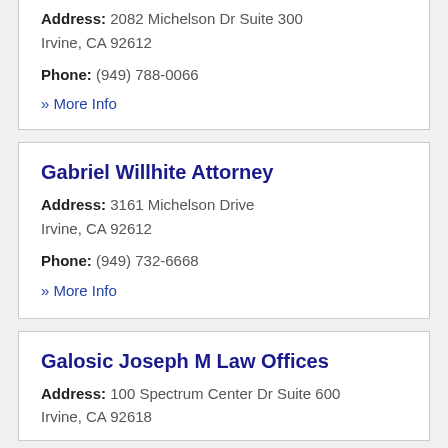Address: 2082 Michelson Dr Suite 300
Irvine, CA 92612
Phone: (949) 788-0066
» More Info
Gabriel Willhite Attorney
Address: 3161 Michelson Drive
Irvine, CA 92612
Phone: (949) 732-6668
» More Info
Galosic Joseph M Law Offices
Address: 100 Spectrum Center Dr Suite 600
Irvine, CA 92618